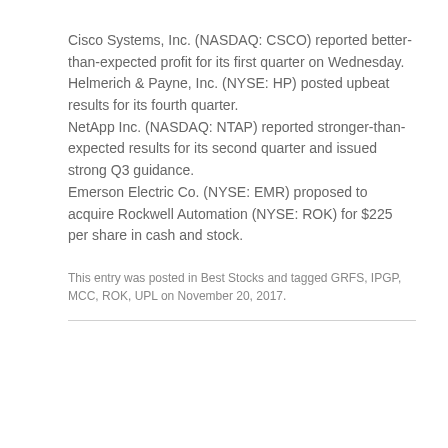Cisco Systems, Inc. (NASDAQ: CSCO) reported better-than-expected profit for its first quarter on Wednesday.
Helmerich & Payne, Inc. (NYSE: HP) posted upbeat results for its fourth quarter.
NetApp Inc. (NASDAQ: NTAP) reported stronger-than-expected results for its second quarter and issued strong Q3 guidance.
Emerson Electric Co. (NYSE: EMR) proposed to acquire Rockwell Automation (NYSE: ROK) for $225 per share in cash and stock.
This entry was posted in Best Stocks and tagged GRFS, IPGP, MCC, ROK, UPL on November 20, 2017.